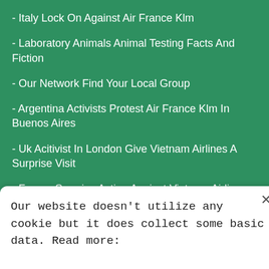- Italy Lock On Against Air France Klm
- Laboratory Animals Animal Testing Facts And Fiction
- Our Network Find Your Local Group
- Argentina Activists Protest Air France Klm In Buenos Aires
- Uk Acitivist In London Give Vietnam Airlines A Surprise Visit
- France Surprise Action Against Vietnam Airlines And China Southern Airlines
Our website doesn't utilize any cookie but it does collect some basic data. Read more: